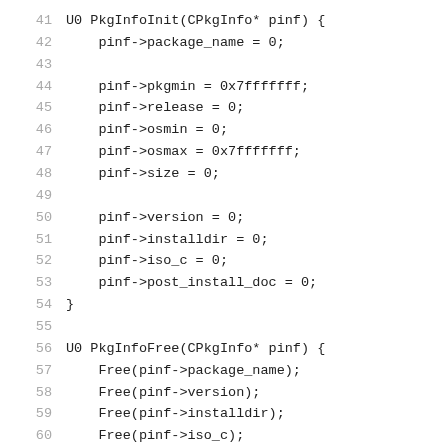Code listing lines 41–62 showing PkgInfoInit and PkgInfoFree C functions
41    U0 PkgInfoInit(CPkgInfo* pinf) {
42        pinf->package_name = 0;
43
44        pinf->pkgmin = 0x7fffffff;
45        pinf->release = 0;
46        pinf->osmin = 0;
47        pinf->osmax = 0x7fffffff;
48        pinf->size = 0;
49
50        pinf->version = 0;
51        pinf->installdir = 0;
52        pinf->iso_c = 0;
53        pinf->post_install_doc = 0;
54    }
55
56    U0 PkgInfoFree(CPkgInfo* pinf) {
57        Free(pinf->package_name);
58        Free(pinf->version);
59        Free(pinf->installdir);
60        Free(pinf->iso_c);
61        Free(pinf->post_install_doc);
62        PkgInfoInit(pinf);